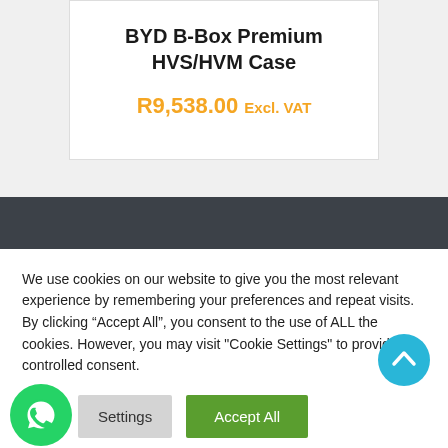BYD B-Box Premium HVS/HVM Case
R9,538.00 Excl. VAT
We use cookies on our website to give you the most relevant experience by remembering your preferences and repeat visits. By clicking "Accept All", you consent to the use of ALL the cookies. However, you may visit "Cookie Settings" to provide a controlled consent.